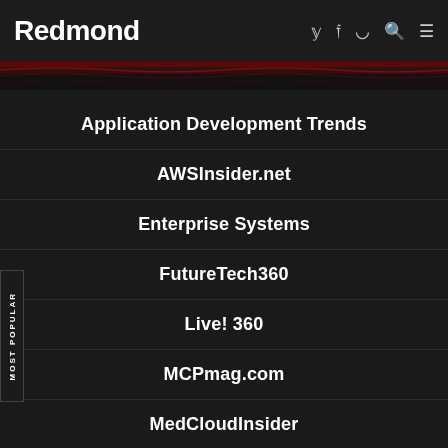Redmond
Application Development Trends
AWSInsider.net
Enterprise Systems
FutureTech360
Live! 360
MCPmag.com
MedCloudInsider
Prophyts